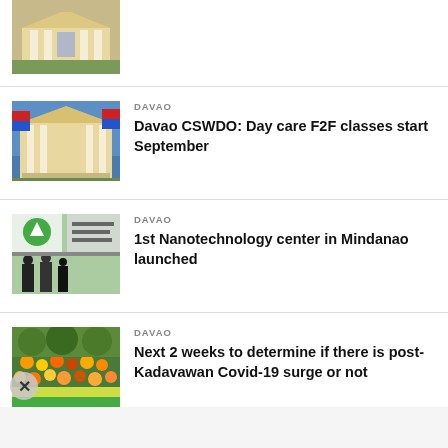[Figure (photo): Partial view of a building with columns, cropped at top]
DAVAO
Davao CSWDO: Day care F2F classes start September
DAVAO
1st Nanotechnology center in Mindanao launched
DAVAO
Next 2 weeks to determine if there is post-Kadavawan Covid-19 surge or not